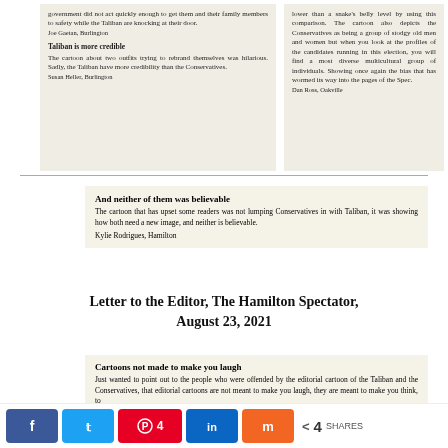[Figure (photo): Left newspaper clipping with bold heading 'Taliban is more credible' and body text about cartoon, signed Joe Gaetan, Burlington and Susan Heller, Burlington]
[Figure (photo): Right newspaper clipping about Conservatives depicted as stodgy, signed Dan Ross, Oakville]
[Figure (photo): Clipping with bold heading 'And neither of them was believable', body text about cartoon not lumping Conservatives with Taliban, signed Kylie Rodrigues, Hamilton]
Letter to the Editor, The Hamilton Spectator, August 23, 2021
[Figure (photo): Clipping with bold heading 'Cartoons not made to make you laugh', body text about editorial cartoons meant to make you think]
Facebook share, Twitter share, Pinterest 4, LinkedIn share, Mix share — 4 SHARES